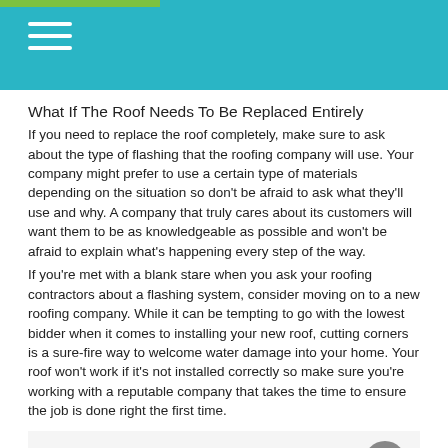What If The Roof Needs To Be Replaced Entirely
If you need to replace the roof completely, make sure to ask about the type of flashing that the roofing company will use. Your company might prefer to use a certain type of materials depending on the situation so don’t be afraid to ask what they’ll use and why. A company that truly cares about its customers will want them to be as knowledgeable as possible and won’t be afraid to explain what’s happening every step of the way.
If you’re met with a blank stare when you ask your roofing contractors about a flashing system, consider moving on to a new roofing company. While it can be tempting to go with the lowest bidder when it comes to installing your new roof, cutting corners is a sure-fire way to welcome water damage into your home. Your roof won’t work if it’s not installed correctly so make sure you’re working with a reputable company that takes the time to ensure the job is done right the first time.
See also  Tips for Choosing the Best Roofing Contractors